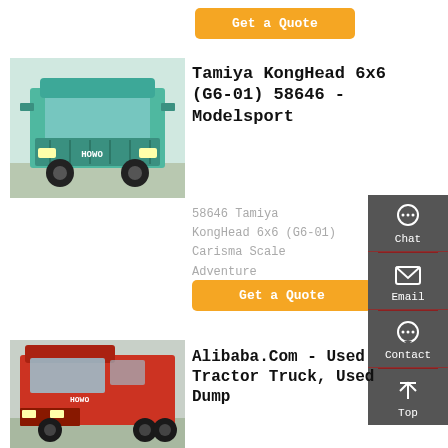[Figure (other): Orange 'Get a Quote' button at top of page]
[Figure (photo): Front view of a teal/turquoise HOWO 6x6 heavy truck]
Tamiya KongHead 6x6 (G6-01) 58646 - Modelsport
58646 Tamiya KongHead 6x6 (G6-01) Carisma Scale Adventure
[Figure (other): Orange 'Get a Quote' button]
[Figure (other): Dark grey sidebar with Chat, Email, Contact, and Top navigation icons]
[Figure (photo): Red HOWO tractor truck side/front view]
Alibaba.Com - Used Tractor Truck, Used Dump